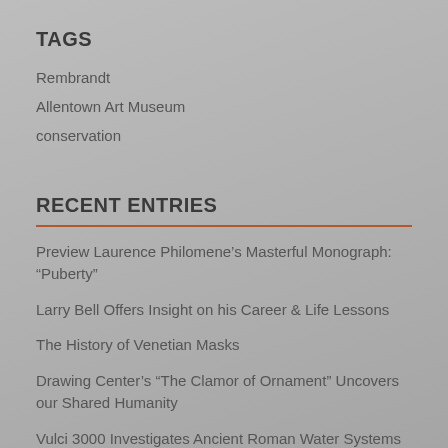TAGS
Rembrandt
Allentown Art Museum
conservation
RECENT ENTRIES
Preview Laurence Philomene’s Masterful Monograph: “Puberty”
Larry Bell Offers Insight on his Career & Life Lessons
The History of Venetian Masks
Drawing Center’s “The Clamor of Ornament” Uncovers our Shared Humanity
Vulci 3000 Investigates Ancient Roman Water Systems